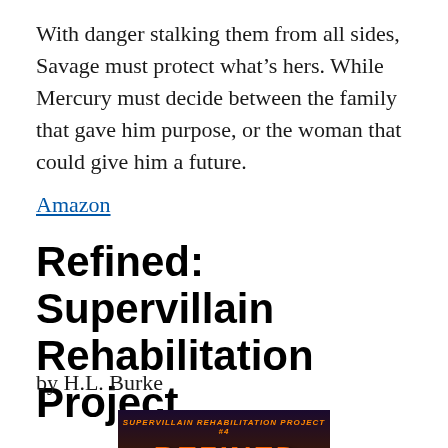With danger stalking them from all sides, Savage must protect what's hers. While Mercury must decide between the family that gave him purpose, or the woman that could give him a future.
Amazon
Refined: Supervillain Rehabilitation Project
by H.L. Burke
[Figure (photo): Book cover for 'Refined: Supervillain Rehabilitation Project #4' showing the title 'REFINED' in large orange italic letters against a dark cityscape background with purple and orange tones.]